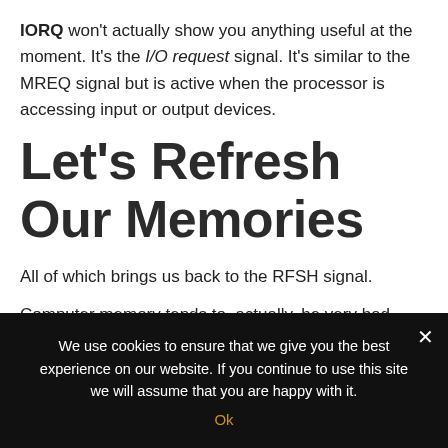IORQ won't actually show you anything useful at the moment. It's the I/O request signal. It's similar to the MREQ signal but is active when the processor is accessing input or output devices.
Let's Refresh Our Memories
All of which brings us back to the RFSH signal.
Computer memory tends to, actually, be very bad
We use cookies to ensure that we give you the best experience on our website. If you continue to use this site we will assume that you are happy with it.
Ok